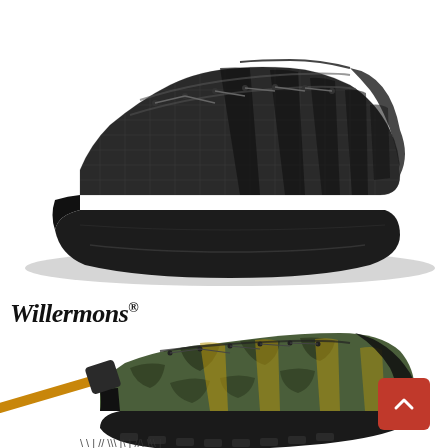[Figure (photo): Black mesh athletic/safety shoe, viewed from the side at slight angle, showing dark gray mesh upper with black stripes and thick rubber sole, on white background]
Willermons®
[Figure (photo): Camouflage pattern safety shoe with steel toe cap being struck by a hammer, olive green and tan camo mesh upper with black laces and thick black rubber sole. A hammer with wooden handle is shown hitting the toe of the boot from the left side. Bottom of page shows size labels partially cut off.]